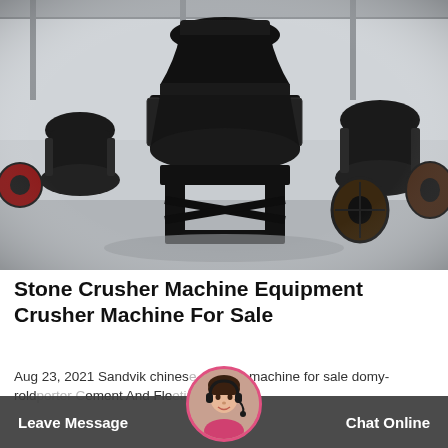[Figure (photo): Industrial cone crusher machines (stone crusher equipment) in a factory/warehouse setting. Large black heavy machinery with red accent parts, springs visible, mounted on metal frames. Multiple units visible in background.]
Stone Crusher Machine Equipment Crusher Machine For Sale
Aug 23, 2021 Sandvik chinese crusher machine for sale domy-rolr porter Cement And Fle ing.